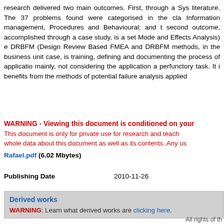systematize both the problems and practices reported in the literature. The 37 problems found were categorised in the classes: Information management, Procedures and Behavioural; and the second outcome, accomplished through a case study, is a set of FMEA (Failure Mode and Effects Analysis) e DRBFM (Design Review Based on Failure Mode). FMEA and DRBFM methods, in the business unit case, is recommended improving training, defining and documenting the process of application of the methods and, mainly, not considering the application a perfunctory task. It is expected that the company benefits from the methods of potential failure analysis applied to the product.
WARNING - Viewing this document is conditioned on your acceptance of the following terms of use: This document is only for private use for research and teaching activities. Reproduction for commercial use is forbidden. This includes the whole data about this document as well as its contents. Any use of information in this document should always reference the source.
Rafael.pdf (6.02 Mbytes)
Publishing Date    2010-11-26
Derived works
WARNING: Learn what derived works are clicking here.
All rights of th